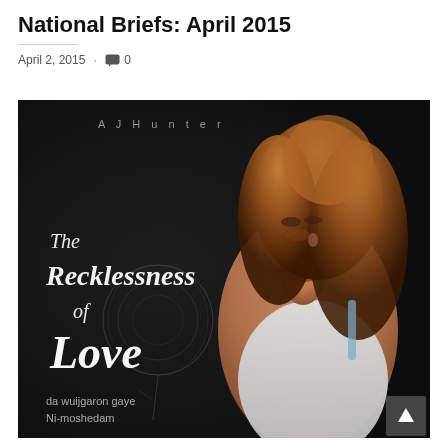National Briefs: April 2015
April 2, 2015 · 💬 0
[Figure (photo): Book cover image for 'The Recklessness of Love' by A.J. Hunter. Dark background with a rose sketch. A woman with long wavy auburn hair wearing a white outfit poses on the right side. White stylized text reads 'The Recklessness of Love'. Bottom text in a foreign script reads 'da wuijgaron gaye Ni-moshedam'. A back-to-top button with an up-arrow is visible in the bottom right corner.]